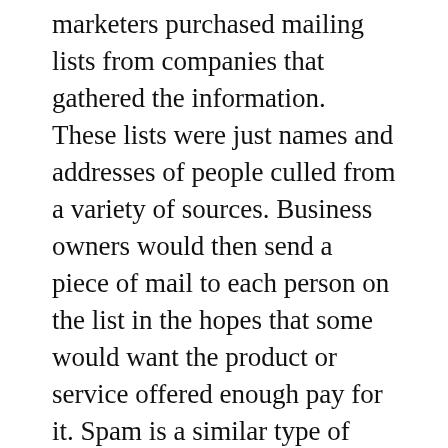marketers purchased mailing lists from companies that gathered the information. These lists were just names and addresses of people culled from a variety of sources. Business owners would then send a piece of mail to each person on the list in the hopes that some would want the product or service offered enough pay for it. Spam is a similar type of thing, only done through email. People send out the same message to hundreds or thousands of people, just hoping a few will bite.
This is a highly inefficient and undesirable way to email people about your business. Not only can it get your account shut down, it?s not like to do anything but alienate the people you?re